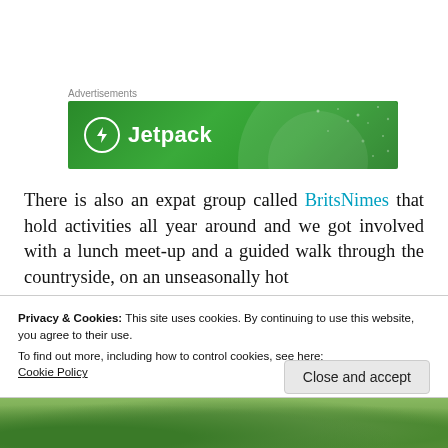Advertisements
[Figure (logo): Jetpack advertisement banner — green background with Jetpack logo (lightning bolt in circle) and text 'Jetpack']
There is also an expat group called BritsNimes that hold activities all year around and we got involved with a lunch meet-up and a guided walk through the countryside, on an unseasonally hot
Privacy & Cookies: This site uses cookies. By continuing to use this website, you agree to their use.
To find out more, including how to control cookies, see here:
Cookie Policy
Close and accept
[Figure (photo): Bottom portion of a photo showing countryside/landscape with trees]